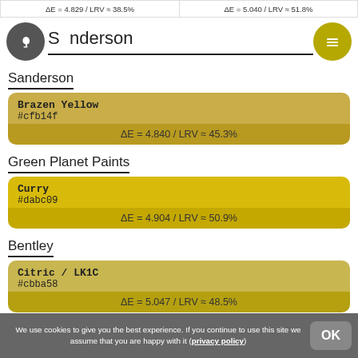ΔE = 4.829 / LRV ≈ 38.5%
ΔE = 5.040 / LRV ≈ 51.8%
Sanderson
Sanderson
| Brazen Yellow | #cfb14f | ΔE = 4.840 / LRV ≈ 45.3% |
Green Planet Paints
| Curry | #dabc09 | ΔE = 4.904 / LRV ≈ 50.9% |
Bentley
| Citric / LK1C | #cbba58 | ΔE = 5.047 / LRV ≈ 48.5% |
General Paint
We use cookies to give you the best experience. If you continue to use this site we assume that you are happy with it (privacy policy)